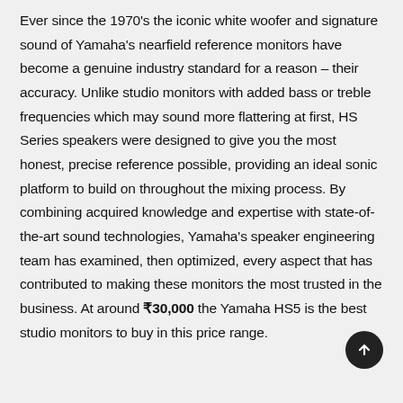Ever since the 1970's the iconic white woofer and signature sound of Yamaha's nearfield reference monitors have become a genuine industry standard for a reason – their accuracy. Unlike studio monitors with added bass or treble frequencies which may sound more flattering at first, HS Series speakers were designed to give you the most honest, precise reference possible, providing an ideal sonic platform to build on throughout the mixing process. By combining acquired knowledge and expertise with state-of-the-art sound technologies, Yamaha's speaker engineering team has examined, then optimized, every aspect that has contributed to making these monitors the most trusted in the business. At around ₹30,000 the Yamaha HS5 is the best studio monitors to buy in this price range.